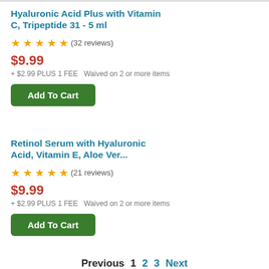Hyaluronic Acid Plus with Vitamin C, Tripeptide 31 - 5 ml
★★★★★ (32 reviews)
$9.99
+ $2.99 PLUS 1 FEE  Waived on 2 or more items
Add To Cart
Retinol Serum with Hyaluronic Acid, Vitamin E, Aloe Ver...
★★★★★ (21 reviews)
$9.99
+ $2.99 PLUS 1 FEE  Waived on 2 or more items
Add To Cart
Previous  1  2  3  Next